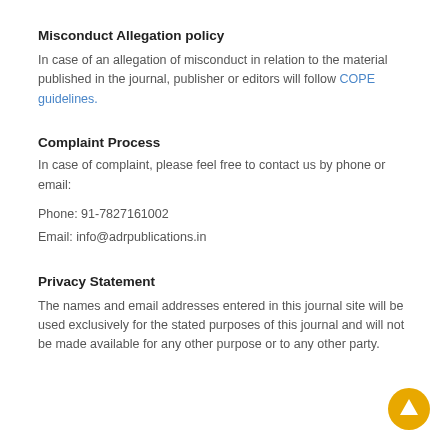Misconduct Allegation policy
In case of an allegation of misconduct in relation to the material published in the journal, publisher or editors will follow COPE guidelines.
Complaint Process
In case of complaint, please feel free to contact us by phone or email:
Phone: 91-7827161002
Email: info@adrpublications.in
Privacy Statement
The names and email addresses entered in this journal site will be used exclusively for the stated purposes of this journal and will not be made available for any other purpose or to any other party.